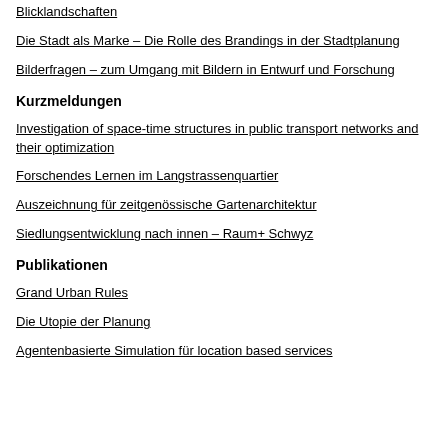Blicklandschaften
Die Stadt als Marke – Die Rolle des Brandings in der Stadtplanung
Bilderfragen – zum Umgang mit Bildern in Entwurf und Forschung
Kurzmeldungen
Investigation of space-time structures in public transport networks and their optimization
Forschendes Lernen im Langstrassenquartier
Auszeichnung für zeitgenössische Gartenarchitektur
Siedlungsentwicklung nach innen – Raum+ Schwyz
Publikationen
Grand Urban Rules
Die Utopie der Planung
Agentenbasierte Simulation für location based services